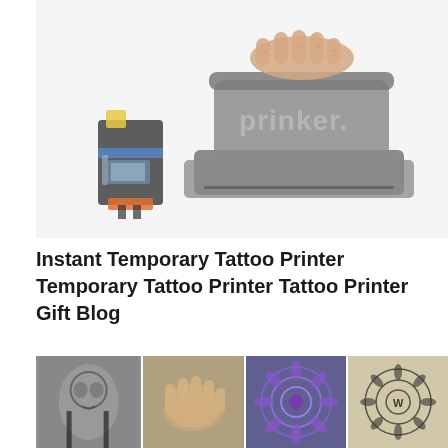[Figure (photo): Photo of a Prinker instant temporary tattoo printer device with an ink cartridge beside it, shown on a white background. A hand is pressing down on the device. The device is gray with 'prinker.' branding visible.]
Instant Temporary Tattoo Printer Temporary Tattoo Printer Tattoo Printer Gift Blog
[Figure (photo): A collage of four tattoo-related photos: (1) a sugar skull tattoo on a shoulder, (2) a hand applying something to a wrist, (3) a blue and purple mandala-style temporary tattoo, (4) a mandala tattoo with a 'W' letter on skin.]